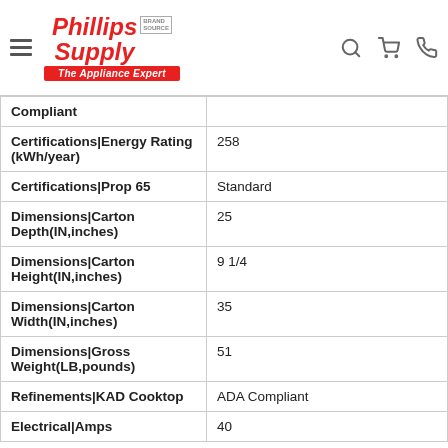Phillips Supply — The Appliance Expert
| Attribute | Value |
| --- | --- |
| Compliant |  |
| Certifications|Energy Rating (kWh/year) | 258 |
| Certifications|Prop 65 | Standard |
| Dimensions|Carton Depth(IN,inches) | 25 |
| Dimensions|Carton Height(IN,inches) | 9 1/4 |
| Dimensions|Carton Width(IN,inches) | 35 |
| Dimensions|Gross Weight(LB,pounds) | 51 |
| Refinements|KAD Cooktop | ADA Compliant |
| Electrical|Amps | 40 |